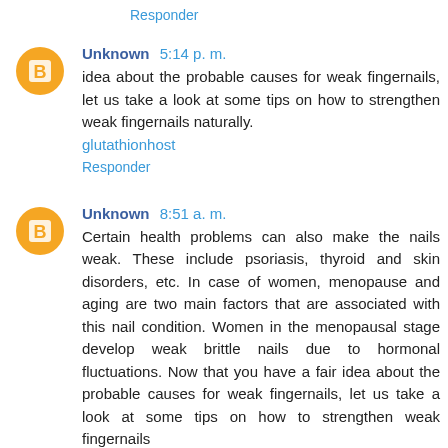Responder
Unknown 5:14 p. m.
idea about the probable causes for weak fingernails, let us take a look at some tips on how to strengthen weak fingernails naturally.
glutathionhost
Responder
Unknown 8:51 a. m.
Certain health problems can also make the nails weak. These include psoriasis, thyroid and skin disorders, etc. In case of women, menopause and aging are two main factors that are associated with this nail condition. Women in the menopausal stage develop weak brittle nails due to hormonal fluctuations. Now that you have a fair idea about the probable causes for weak fingernails, let us take a look at some tips on how to strengthen weak fingernails naturally.